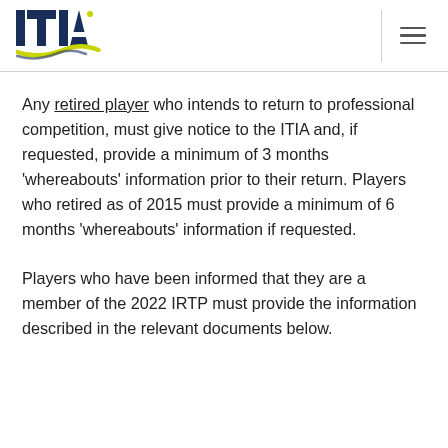ITIA logo and navigation
Any retired player who intends to return to professional competition, must give notice to the ITIA and, if requested, provide a minimum of 3 months 'whereabouts' information prior to their return. Players who retired as of 2015 must provide a minimum of 6 months 'whereabouts' information if requested.
Players who have been informed that they are a member of the 2022 IRTP must provide the information described in the relevant documents below.